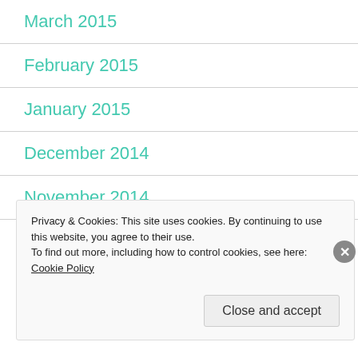March 2015
February 2015
January 2015
December 2014
November 2014
October 2014
Privacy & Cookies: This site uses cookies. By continuing to use this website, you agree to their use.
To find out more, including how to control cookies, see here: Cookie Policy
Close and accept